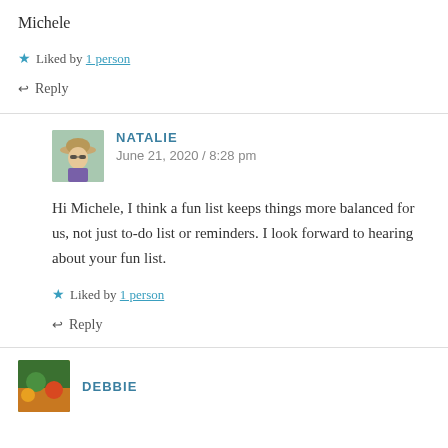Michele
★ Liked by 1 person
↩ Reply
NATALIE
June 21, 2020 / 8:28 pm
Hi Michele, I think a fun list keeps things more balanced for us, not just to-do list or reminders. I look forward to hearing about your fun list.
★ Liked by 1 person
↩ Reply
DEBBIE